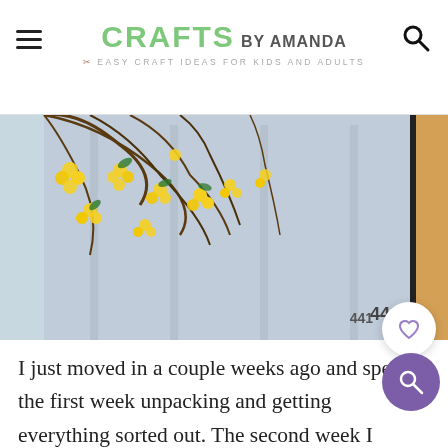CRAFTS BY AMANDA — Easy Craft Ideas for Kids and Adults
[Figure (photo): Yellow forsythia flowers hanging over a light blue painted door with a house number 441 visible]
I just moved in a couple weeks ago and spent the first week unpacking and getting everything sorted out. The second week I spent catching up on work! It's amazing how quickly you can fall behind. This past week though, I hit the craft store and they had silk